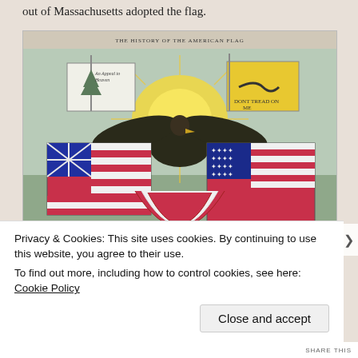out of Massachusetts adopted the flag.
[Figure (illustration): Historical illustration titled 'The History of the American Flag' showing multiple early American flags including the Pine Tree flag, Gadsden flag, Continental Colors, and US flag, with an eagle in the center amid sunburst, and colonial era flags at bottom.]
Privacy & Cookies: This site uses cookies. By continuing to use this website, you agree to their use.
To find out more, including how to control cookies, see here: Cookie Policy
Close and accept